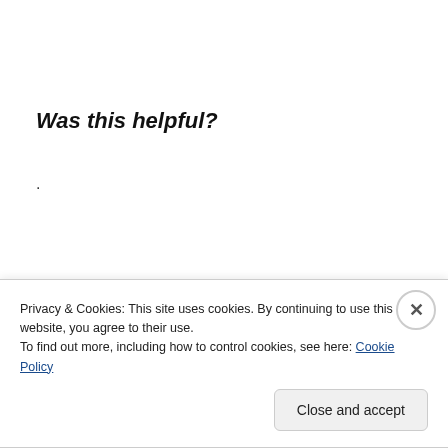Was this helpful?
.
Privacy & Cookies: This site uses cookies. By continuing to use this website, you agree to their use.
To find out more, including how to control cookies, see here: Cookie Policy
Close and accept